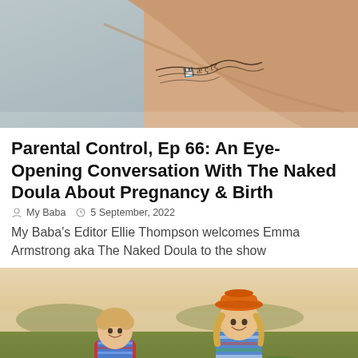[Figure (photo): Close-up photo of a woman's arm with a tattoo, arms crossed, wearing a white top]
Parental Control, Ep 66: An Eye-Opening Conversation With The Naked Doula About Pregnancy & Birth
My Baba   5 September, 2022
My Baba's Editor Ellie Thompson welcomes Emma Armstrong aka The Naked Doula to the show
[Figure (photo): Two young children laughing in a pumpkin patch field; one wearing red overalls and striped shirt, another wearing an orange cowboy hat and striped shirt]